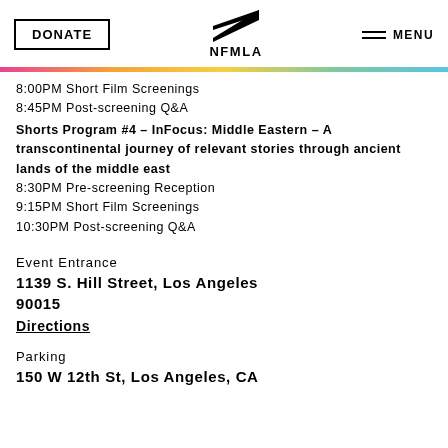DONATE | NFMLA | MENU
8:00PM Short Film Screenings
8:45PM Post-screening Q&A
Shorts Program #4 – InFocus: Middle Eastern – A transcontinental journey of relevant stories through ancient lands of the middle east
8:30PM Pre-screening Reception
9:15PM Short Film Screenings
10:30PM Post-screening Q&A
Event Entrance
1139 S. Hill Street, Los Angeles 90015
Directions
Parking
150 W 12th St, Los Angeles, CA